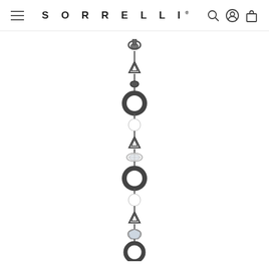SORRELLI
[Figure (photo): Sorrelli jewelry bracelet/charm piece shown vertically. Dark gunmetal colored chain with lobster clasp at top, featuring alternating dark circular ring links, white pearl beads, crystal rhinestone rondelle spacers, and triangular gunmetal connector pieces.]